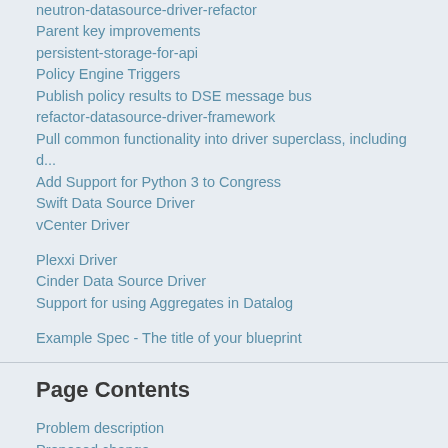neutron-datasource-driver-refactor
Parent key improvements
persistent-storage-for-api
Policy Engine Triggers
Publish policy results to DSE message bus
refactor-datasource-driver-framework
Pull common functionality into driver superclass, including d...
Add Support for Python 3 to Congress
Swift Data Source Driver
vCenter Driver
Plexxi Driver
Cinder Data Source Driver
Support for using Aggregates in Datalog
Example Spec - The title of your blueprint
Page Contents
Problem description
Proposed change
Alternatives